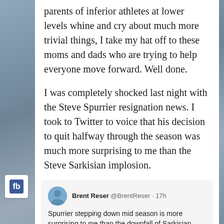parents of inferior athletes at lower levels whine and cry about much more trivial things, I take my hat off to these moms and dads who are trying to help everyone move forward. Well done.
I was completely shocked last night with the Steve Spurrier resignation news. I took to Twitter to voice that his decision to quit halfway through the season was much more surprising to me than the Steve Sarkisian implosion.
[Figure (screenshot): Tweet from Brent Reser (@BrentReser) posted 17h ago: 'Spurrier stepping down mid season is more surprising to me than the downfall of Sarkisian.']